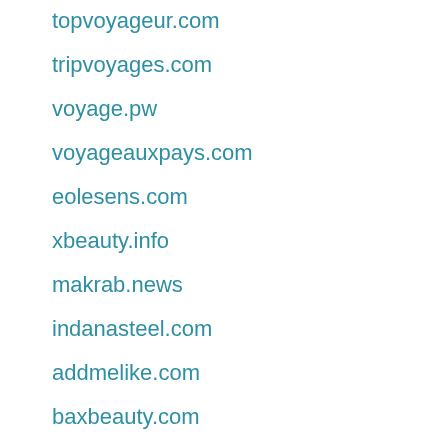topvoyageur.com
tripvoyages.com
voyage.pw
voyageauxpays.com
eolesens.com
xbeauty.info
makrab.news
indanasteel.com
addmelike.com
baxbeauty.com
gem.agency
integrityvancouver.com